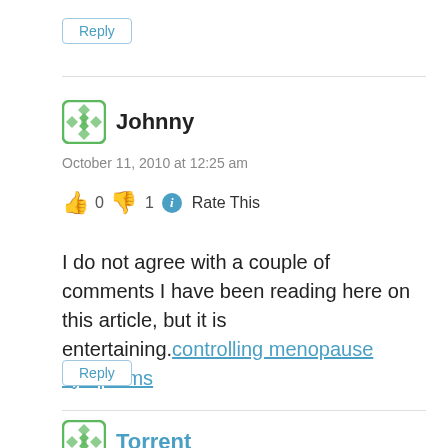Reply
Johnny
October 11, 2010 at 12:25 am
👍 0 👎 1 ℹ Rate This
I do not agree with a couple of comments I have been reading here on this article, but it is entertaining.controlling menopause symptoms
Reply
Torrent